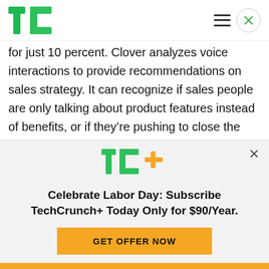TechCrunch
for just 10 percent. Clover analyzes voice interactions to provide recommendations on sales strategy. It can recognize if sales people are only talking about product features instead of benefits, or if they’re pushing to close the sale at the wrong time. The software saves time for managers, which typically spend half their weeks listening in on calls,
[Figure (logo): TechCrunch+ logo with green TC letters and orange plus sign]
Celebrate Labor Day: Subscribe TechCrunch+ Today Only for $90/Year.
GET OFFER NOW